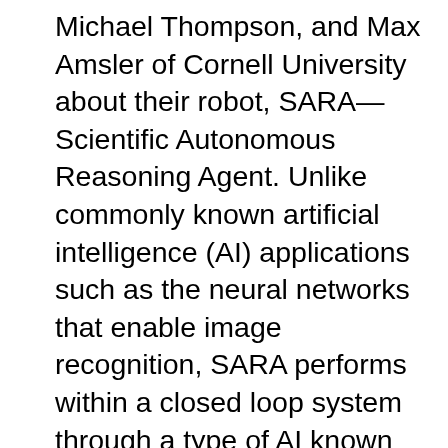Michael Thompson, and Max Amsler of Cornell University about their robot, SARA—Scientific Autonomous Reasoning Agent. Unlike commonly known artificial intelligence (AI) applications such as the neural networks that enable image recognition, SARA performs within a closed loop system through a type of AI known as active learning, which allows the system to reason without a lot of training data. Within 30 minutes, SARA figured out how to make delta phase bismuth oxide and cool it to room temperature, saving the research team two full days of experiments.